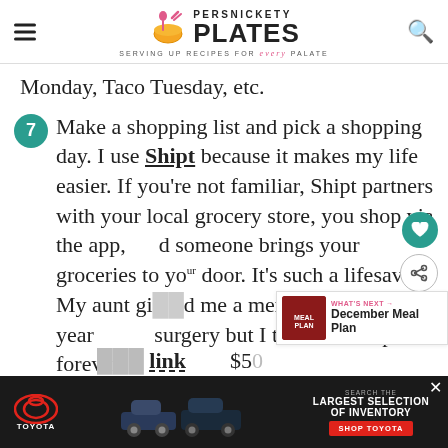Persnickety Plates — Serving up recipes for every palate
Monday, Taco Tuesday, etc.
7  Make a shopping list and pick a shopping day. I use Shipt because it makes my life easier. If you're not familiar, Shipt partners with your local grocery store, you shop via the app, and someone brings your groceries to your door. It's such a lifesaver! My aunt gifted me a membership last year after surgery but I think I'll keep it forever. It...
[Figure (other): Advertisement banner for Toyota showing cars and 'Search the Largest Selection of Inventory / Shop Toyota' call to action]